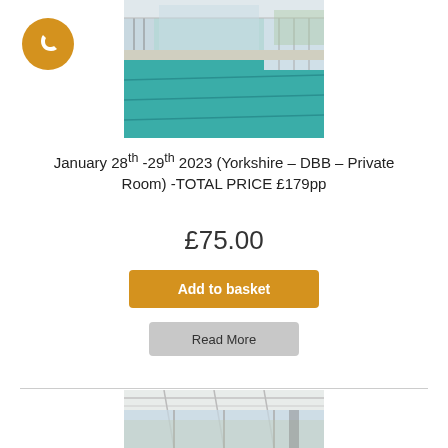[Figure (photo): Orange phone/call icon circle button in top-left corner]
[Figure (photo): Indoor swimming pool with teal water and large windows, viewed from the side]
January 28th -29th 2023 (Yorkshire – DBB – Private Room) -TOTAL PRICE £179pp
£75.00
Add to basket
Read More
[Figure (photo): Indoor swimming pool area with white ceiling structure and large windows, partial view]